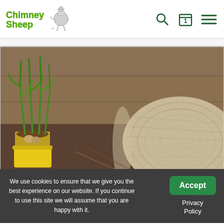Chimney Sheep - website header with logo and navigation icons (search, cart with 1 item, menu)
[Figure (photo): A rolled-up roll of wool/fleece insulation material on a wooden surface, with a plant with green shoots growing from a yellow pot in the background. Warm tones.]
We use cookies to ensure that we give you the best experience on our website. If you continue to use this site we will assume that you are happy with it.
Accept
Privacy Policy